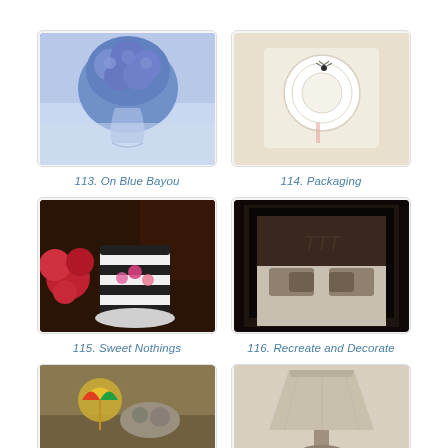[Figure (photo): Blue hydrangea floral arrangement in a glass vase on a table with blue tablecloth]
113. On Blue Bayou
[Figure (photo): White packaging or gift wrap with a decorative circular element and small spider on cream background]
114. Packaging
[Figure (photo): Black and white striped candy jar with pink flowers and treats on a dark table]
115. Sweet Nothings
[Figure (photo): Dark bedroom interior with a bed, gray pillows, and monogram on wall above headboard]
116. Recreate and Decorate
[Figure (photo): Outdoor scene with colorful umbrella drink and stone/sand arrangement]
[Figure (photo): Lamp or shade with neutral tones in a bedroom setting]